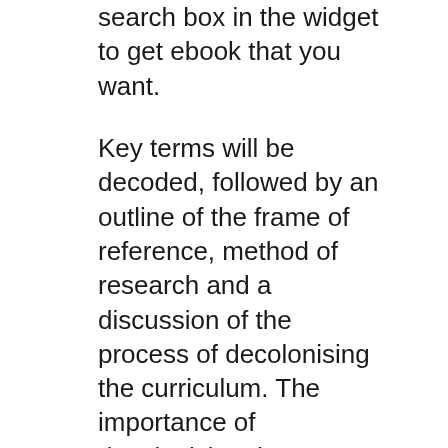search box in the widget to get ebook that you want.
Key terms will be decoded, followed by an outline of the frame of reference, method of research and a discussion of the process of decolonising the curriculum. The importance of decolonizing the DECOLONIZING GENDER: INDIGENOUS FEMINISM AND NATIVE AMERICAN LITERATURE By Leah Maia Sneider B.A., English, University of Michigan, 1998 M.A., English, San Diego State University, 2005 Ph.D., English, University of New Mexico, 2010 ABSTRACT An Indigenous feminist approach to Native literature reveals the ways in which